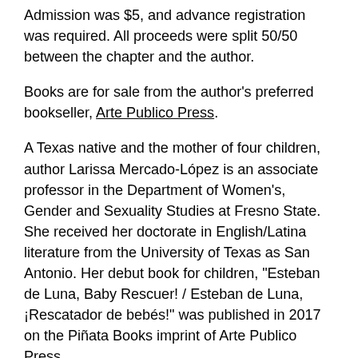Admission was $5, and advance registration was required. All proceeds were split 50/50 between the chapter and the author.
Books are for sale from the author's preferred bookseller, Arte Publico Press.
A Texas native and the mother of four children, author Larissa Mercado-López is an associate professor in the Department of Women's, Gender and Sexuality Studies at Fresno State. She received her doctorate in English/Latina literature from the University of Texas as San Antonio. Her debut book for children, “Esteban de Luna, Baby Rescuer! / Esteban de Luna, ¡Rescatador de bebés!” was published in 2017 on the Piñata Books imprint of Arte Publico Press.